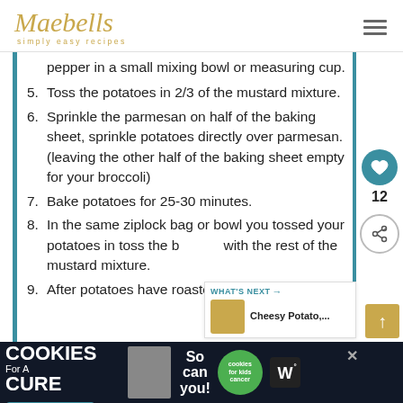Maebells simply easy recipes
pepper in a small mixing bowl or measuring cup.
5. Toss the potatoes in 2/3 of the mustard mixture.
6. Sprinkle the parmesan on half of the baking sheet, sprinkle potatoes directly over parmesan. (leaving the other half of the baking sheet empty for your broccoli)
7. Bake potatoes for 25-30 minutes.
8. In the same ziplock bag or bowl you tossed your potatoes in toss the b... with the rest of the mustard mixture.
9. After potatoes have roasted for 25-30
[Figure (screenshot): Advertisement banner: I Bake COOKIES For A CURE - Haldora, 11 Cancer Survivor - So can you! - cookies for kids cancer logo]